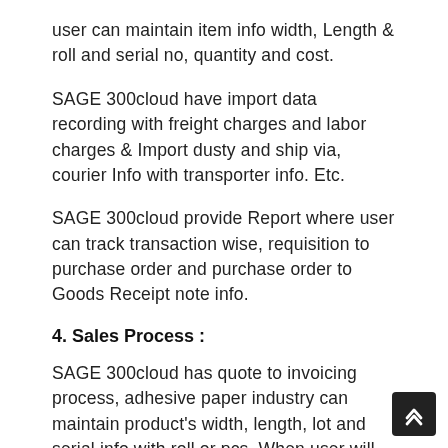user can maintain item info width, Length & roll and serial no, quantity and cost.
SAGE 300cloud have import data recording with freight charges and labor charges & Import dusty and ship via, courier Info with transporter info. Etc.
SAGE 300cloud provide Report where user can track transaction wise, requisition to purchase order and purchase order to Goods Receipt note info.
4. Sales Process :
SAGE 300cloud has quote to invoicing process, adhesive paper industry can maintain product's width, length, lot and serial info with roll or pcs. When user will process for shipment material to customer then user can select product information with roll or pcs and width and length. It provides sale report w...